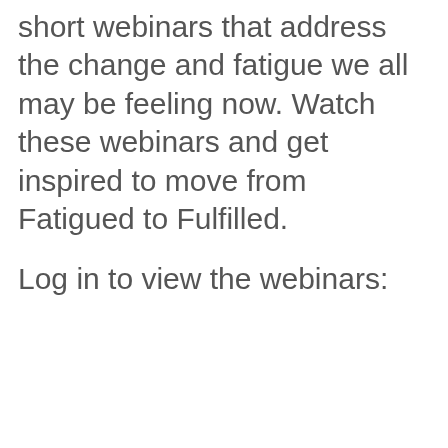design this series of short webinars that address the change and fatigue we all may be feeling now. Watch these webinars and get inspired to move from Fatigued to Fulfilled.
Log in to view the webinars: